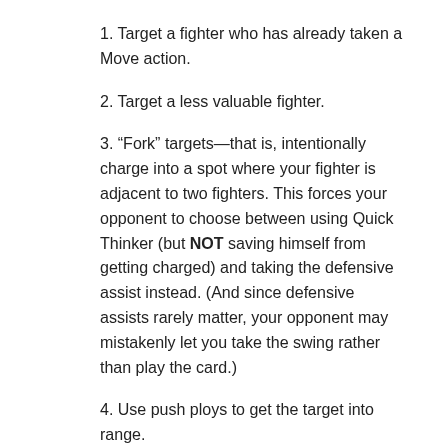1. Target a fighter who has already taken a Move action.
2. Target a less valuable fighter.
3. “Fork” targets—that is, intentionally charge into a spot where your fighter is adjacent to two fighters. This forces your opponent to choose between using Quick Thinker (but NOT saving himself from getting charged) and taking the defensive assist instead. (And since defensive assists rarely matter, your opponent may mistakenly let you take the swing rather than play the card.)
4. Use push ploys to get the target into range.
5. Carry Time Trap.
6. Carry No Time. (This card isn’t popular, but it